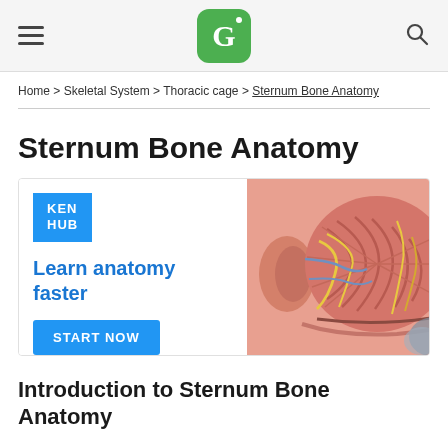KEN HUB logo navigation header with hamburger menu and search icon
Home > Skeletal System > Thoracic cage > Sternum Bone Anatomy
Sternum Bone Anatomy
[Figure (illustration): KEN HUB advertisement banner: blue KEN HUB badge top left, 'Learn anatomy faster' in blue text, 'START NOW' blue button, and anatomical illustration of head muscles/nerves on the right side]
Introduction to Sternum Bone Anatomy